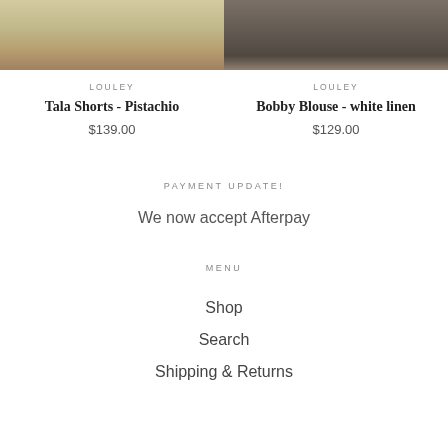[Figure (photo): Two product photos side by side: left shows Tala Shorts in Pistachio color, right shows Bobby Blouse in white linen]
LOULEY
Tala Shorts - Pistachio
$139.00
LOULEY
Bobby Blouse - white linen
$129.00
PAYMENT UPDATE!
We now accept Afterpay
MENU
Shop
Search
Shipping & Returns